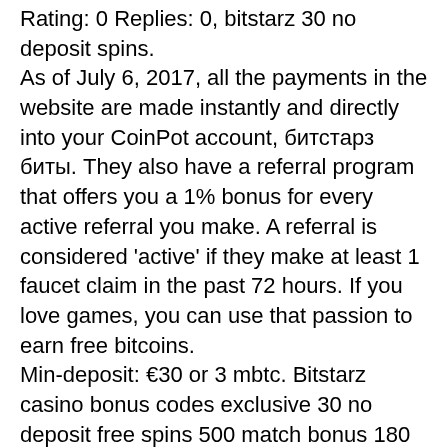Rating: 0 Replies: 0, bitstarz 30 no deposit spins. As of July 6, 2017, all the payments in the website are made instantly and directly into your CoinPot account, битстарз биты. They also have a referral program that offers you a 1% bonus for every active referral you make. A referral is considered 'active' if they make at least 1 faucet claim in the past 72 hours. If you love games, you can use that passion to earn free bitcoins. Min-deposit: €30 or 3 mbtc. Bitstarz casino bonus codes exclusive 30 no deposit free spins 500 match bonus 180 extra spins play hundreds of slots for free. When you make the second deposit, you will get 50% which is up to 1 btc and otherwise known as. Gain dao - hybrid finance (hyfi) forum - member profile &gt; profile page. User: bitstarz no deposit bonus codes for existing users.